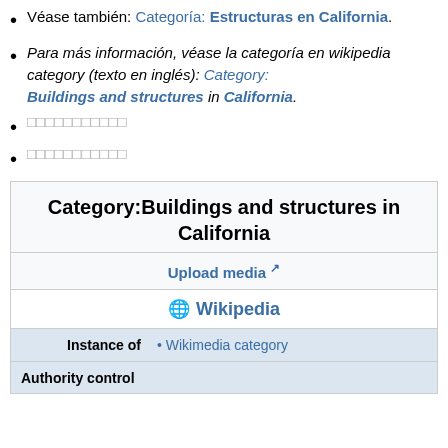Véase también: Categoría: Estructuras en California.
Para más información, véase la categoría en wikipedia category (texto en inglés): Category: Buildings and structures in California.
□□□□□□□□□□□
□□□□□□□□□□□
| Category:Buildings and structures in California |
| Upload media ↗ |
| 🌐 Wikipedia |
| Instance of | • Wikimedia category |
| Authority control |  |